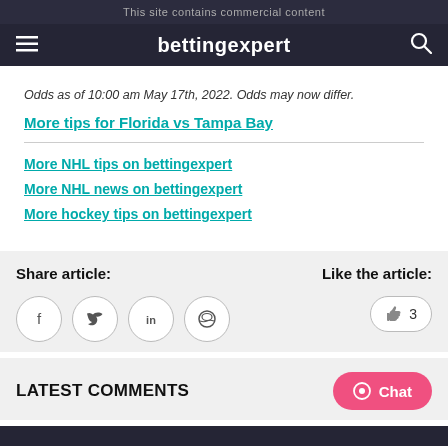This site contains commercial content
bettingexpert
Odds as of 10:00 am May 17th, 2022. Odds may now differ.
More tips for Florida vs Tampa Bay
More NHL tips on bettingexpert
More NHL news on bettingexpert
More hockey tips on bettingexpert
Share article:
Like the article:
LATEST COMMENTS
Chat